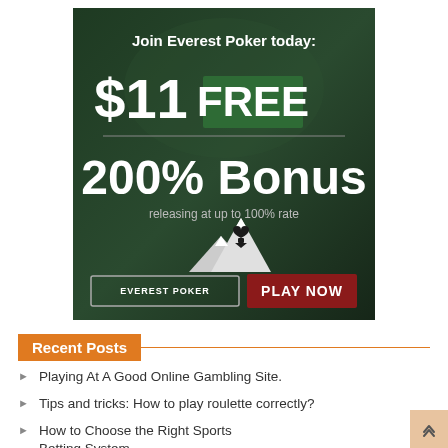[Figure (illustration): Everest Poker advertisement banner on dark green background. Text: 'Join Everest Poker today:' / '$11 FREE' / '200% Bonus' / 'releasing at up to 100% rate' / Everest Poker logo with mountains and spade / 'PLAY NOW' red button]
Recent Posts
Playing At A Good Online Gambling Site.
Tips and tricks: How to play roulette correctly?
How to Choose the Right Sports Betting System